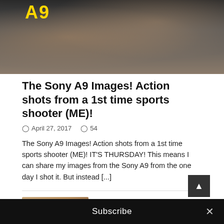[Figure (photo): Action sports photo showing an athlete jumping/flipping, with Sony A9 yellow logo text visible at top left. Dark/indoor environment.]
The Sony A9 Images! Action shots from a 1st time sports shooter (ME)!
ⓘ April 27, 2017  💬 54
The Sony A9 Images! Action shots from a 1st time sports shooter (ME)! IT’S THURSDAY! This means I can share my images from the Sony A9 from the one day I shot it. But instead [...]
[Figure (photo): Thumbnail portrait photo of a blonde woman smiling, indoor/restaurant background.]
FIRST LOOK: The Myer Optik NOCTURNUS II 50 0.95. Stunning!
ⓘ April 27, 2017  💬 29
Subscribe